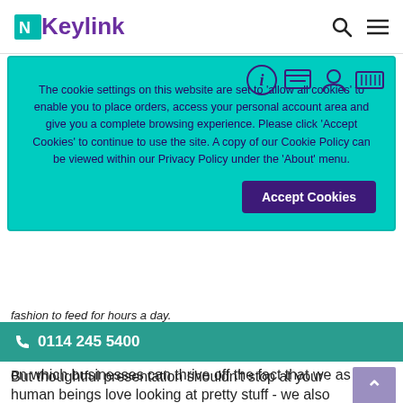Keylink
The cookie settings on this website are set to ‘allow all cookies’ to enable you to place orders, access your personal account area and give you a complete browsing experience. Please click ‘Accept Cookies’ to continue to use the site. A copy of our Cookie Policy can be viewed within our Privacy Policy under the ‘About’ menu.
fashion to feed for hours a day.
0114 245 5400
on which businesses can thrive off the fact that we as human beings love looking at pretty stuff - we also love buying it.
But thoughtful presentation shouldn’t stop at your